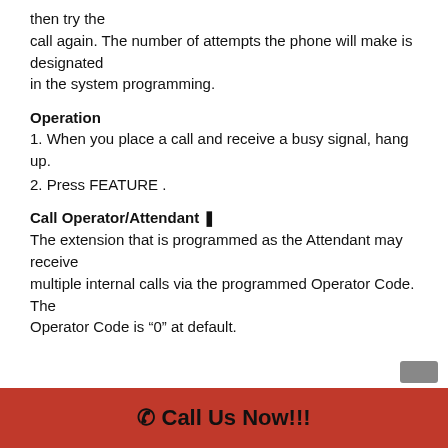then try the call again. The number of attempts the phone will make is designated in the system programming.
Operation
1. When you place a call and receive a busy signal, hang up.
2. Press FEATURE .
Call Operator/Attendant
The extension that is programmed as the Attendant may receive multiple internal calls via the programmed Operator Code. The Operator Code is “0” at default.
Call Us Now!!!